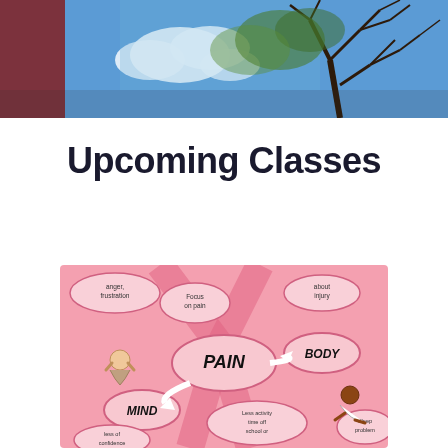[Figure (photo): Outdoor photo showing trees with branches against a blue sky with clouds, partial view of a building or structure on the left side]
Upcoming Classes
[Figure (illustration): Pink-themed mind-map style illustration showing pain management concepts. Central oval labeled 'PAIN' with connecting arrows to 'MIND' (showing person with head in hands) and 'BODY' (showing person lying down). Smaller bubbles include 'anger, frustration', 'focus on pain', 'about injury', 'less activity', 'time off school or...', 'sleep problems', 'less of confidence'. Pink ribbon pattern in background.]